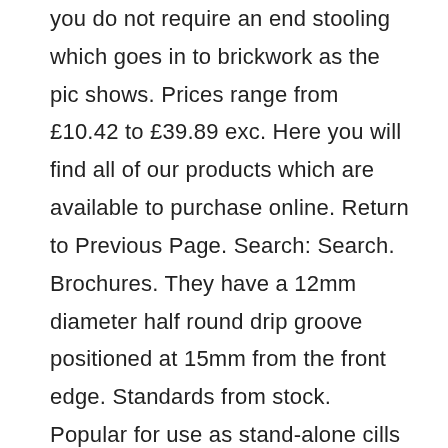you do not require an end stooling which goes in to brickwork as the pic shows. Prices range from £10.42 to £39.89 exc. Here you will find all of our products which are available to purchase online. Return to Previous Page. Search: Search. Brochures. They have a 12mm diameter half round drip groove positioned at 15mm from the front edge. Standards from stock. Popular for use as stand-alone cills or for use in creating Bay Windows. Slip sills are used for rendered walls and also as sections for larger windows. 4 Item (s) The Cranborne Stone range of Cast Stone Cills offers a wide choice of designs and sizes.